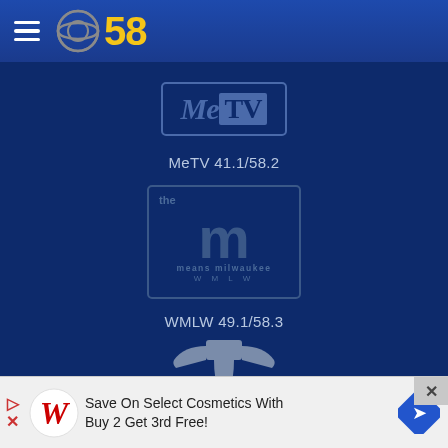CBS 58 navigation header with hamburger menu and CBS 58 logo
[Figure (logo): MeTV logo - white outlined box with 'Me' italic and 'TV' in filled box]
MeTV 41.1/58.2
[Figure (logo): WMLW logo - The M means milwaukee WMLW in outlined box]
WMLW 49.1/58.3
[Figure (logo): Telemundo logo partially visible at bottom]
TELEMUNDO (partially visible)
[Figure (infographic): Advertisement bar: Save On Select Cosmetics With Buy 2 Get 3rd Free! with Walgreens logo and navigation arrow icon]